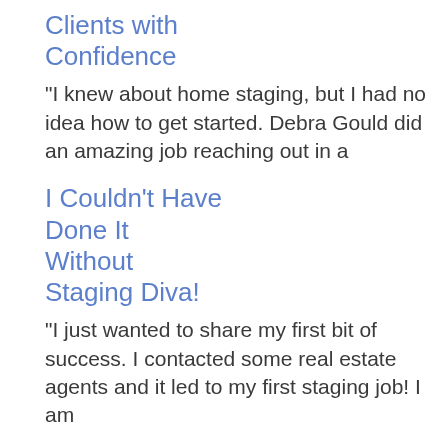Clients with Confidence
“I knew about home staging, but I had no idea how to get started. Debra Gould did an amazing job reaching out in a
I Couldn’t Have Done It Without Staging Diva!
"I just wanted to share my first bit of success. I contacted some real estate agents and it led to my first staging job! I am
[Figure (photo): Portrait photo of a smiling woman with dark hair]
After Staging Diva I Know I Can Control My Own